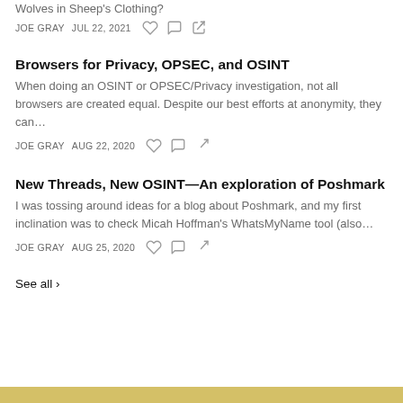Wolves in Sheep's Clothing? (truncated top)
JOE GRAY   JUL 22, 2021
Browsers for Privacy, OPSEC, and OSINT
When doing an OSINT or OPSEC/Privacy investigation, not all browsers are created equal. Despite our best efforts at anonymity, they can…
JOE GRAY   AUG 22, 2020
New Threads, New OSINT—An exploration of Poshmark
I was tossing around ideas for a blog about Poshmark, and my first inclination was to check Micah Hoffman's WhatsMyName tool (also…
JOE GRAY   AUG 25, 2020
See all ›